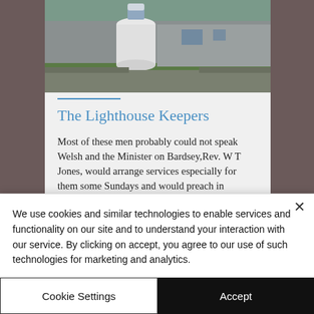[Figure (photo): Photo of a lighthouse building with white cylindrical tower and stone outbuildings on grassy grounds]
The Lighthouse Keepers
Most of these men probably could not speak Welsh and the Minister on Bardsey,Rev. W T Jones, would arrange services especially for them some Sundays and would preach in English. In the early years of the lighthouse
We use cookies and similar technologies to enable services and functionality on our site and to understand your interaction with our service. By clicking on accept, you agree to our use of such technologies for marketing and analytics.